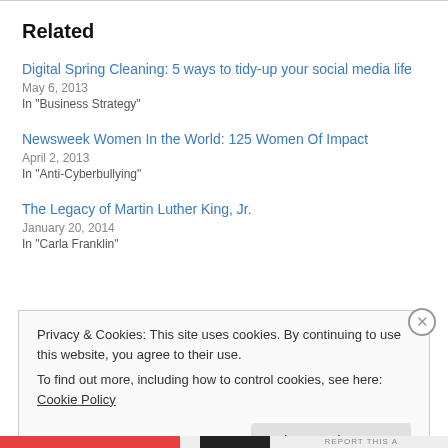Related
Digital Spring Cleaning: 5 ways to tidy-up your social media life
May 6, 2013
In "Business Strategy"
Newsweek Women In the World: 125 Women Of Impact
April 2, 2013
In "Anti-Cyberbullying"
The Legacy of Martin Luther King, Jr.
January 20, 2014
In "Carla Franklin"
Privacy & Cookies: This site uses cookies. By continuing to use this website, you agree to their use.
To find out more, including how to control cookies, see here: Cookie Policy
Close and accept